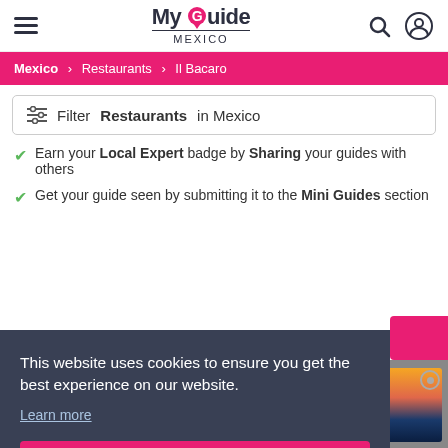My Guide Mexico — header with hamburger menu, logo, search and user icons
Mexico > Restaurants > Il Bacaro
Filter Restaurants in Mexico
Earn your Local Expert badge by Sharing your guides with others
Get your guide seen by submitting it to the Mini Guides section
This website uses cookies to ensure you get the best experience on our website. Learn more
Got it!